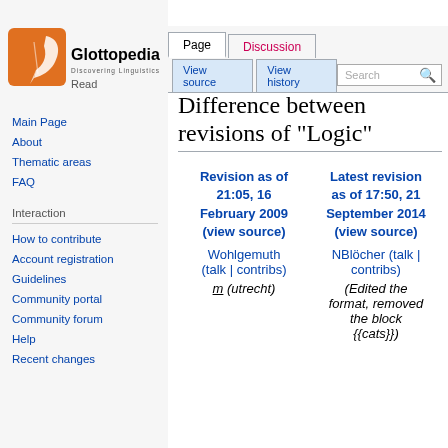Log in
[Figure (logo): Glottopedia logo — orange square with white feather, text 'Glottopedia' and tagline 'Discovering Linguistics']
Main Page
About
Thematic areas
FAQ
Interaction
How to contribute
Account registration
Guidelines
Community portal
Community forum
Help
Recent changes
Difference between revisions of "Logic"
| Revision as of 21:05, 16 February 2009 (view source) | Latest revision as of 17:50, 21 September 2014 (view source) |
| --- | --- |
| Wohlgemuth (talk | contribs) | NBlöcher (talk | contribs) |
| m (utrecht) | (Edited the format, removed the block {{cats}}) |